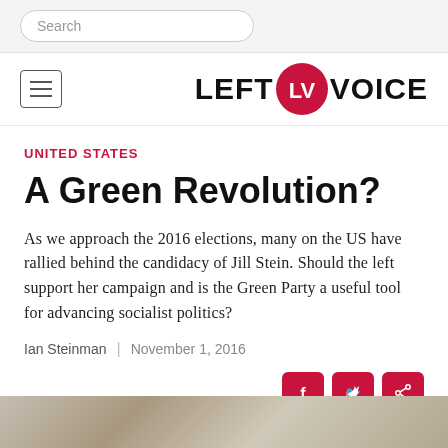Search
[Figure (logo): Left Voice logo with LV icon in a red circle]
UNITED STATES
A Green Revolution?
As we approach the 2016 elections, many on the US have rallied behind the candidacy of Jill Stein. Should the left support her campaign and is the Green Party a useful tool for advancing socialist politics?
Ian Steinman  |  November 1, 2016
[Figure (infographic): Social share buttons: Facebook, Twitter, Share]
[Figure (photo): Photo strip at bottom of page showing people]